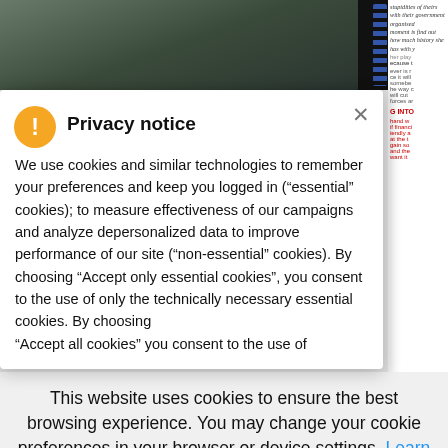[Figure (screenshot): Background webpage content partially visible behind modal overlay, showing article text on the right side with some red bold text and a dark image on the top left]
Privacy notice
We use cookies and similar technologies to remember your preferences and keep you logged in (“essential” cookies); to measure effectiveness of our campaigns and analyze depersonalized data to improve performance of our site (“non-essential” cookies). By choosing “Accept only essential cookies”, you consent to the use of only the technically necessary essential cookies. By choosing “Accept all cookies” you consent to the use of
This website uses cookies to ensure the best browsing experience. You may change your cookie preferences in your browser or device settings. Learn More How To Delete Cookies
Accept